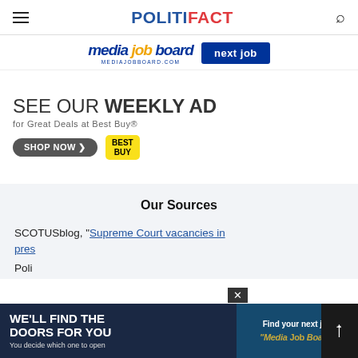POLITIFACT
[Figure (other): Media Job Board advertisement banner with 'media job board' text and 'next job' button]
[Figure (other): Best Buy weekly ad advertisement: 'SEE OUR WEEKLY AD for Great Deals at Best Buy® SHOP NOW' with Best Buy logo]
Our Sources
SCOTUSblog, "Supreme Court vacancies in presidential election years..."
Poli...
[Figure (other): Overlay advertisement: 'WE'LL FIND THE DOORS FOR YOU - You decide which one to open' on left, 'Find your next job - Media Job Board' on right, with close (x) and share buttons]